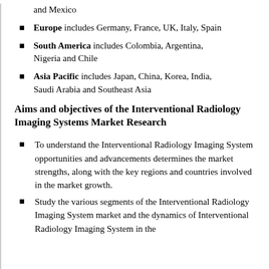and Mexico
Europe includes Germany, France, UK, Italy, Spain
South America includes Colombia, Argentina, Nigeria and Chile
Asia Pacific includes Japan, China, Korea, India, Saudi Arabia and Southeast Asia
Aims and objectives of the Interventional Radiology Imaging Systems Market Research
To understand the Interventional Radiology Imaging System opportunities and advancements determines the market strengths, along with the key regions and countries involved in the market growth.
Study the various segments of the Interventional Radiology Imaging System market and the dynamics of Interventional Radiology Imaging System in the